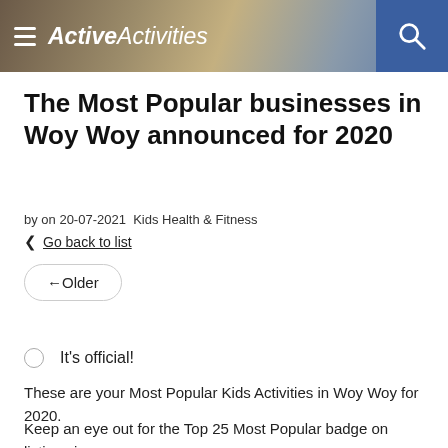ActiveActivities
The Most Popular businesses in Woy Woy announced for 2020
by on 20-07-2021 Kids Health & Fitness
Go back to list
← Older
It's official!
These are your Most Popular Kids Activities in Woy Woy for 2020.
Keep an eye out for the Top 25 Most Popular badge on listings in